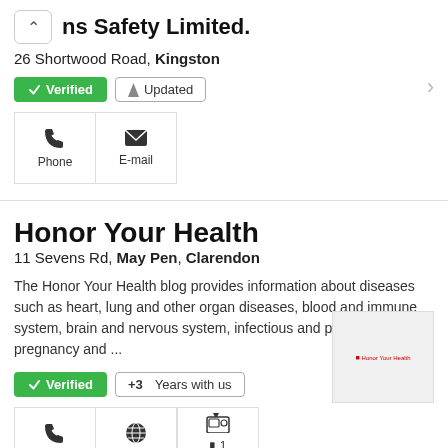ns Safety Limited.
26 Shortwood Road, Kingston
Verified   Updated
Phone   E-mail
Honor Your Health
11 Sevens Rd, May Pen, Clarendon
The Honor Your Health blog provides information about diseases such as heart, lung and other organ diseases, blood and immune system, brain and nervous system, infectious and parasitic, pregnancy and ...
Verified   +3 Years with us
Phone   Website   1 Photos